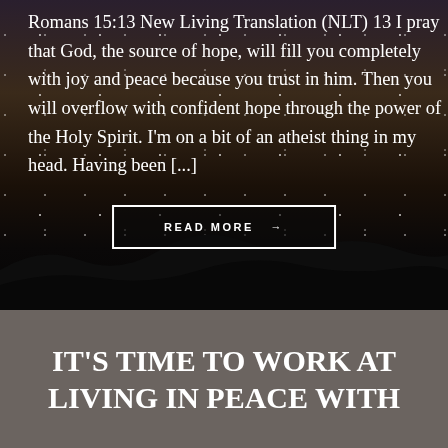Romans 15:13 New Living Translation (NLT) 13 I pray that God, the source of hope, will fill you completely with joy and peace because you trust in him. Then you will overflow with confident hope through the power of the Holy Spirit. I'm on a bit of an atheist thing in my head. Having been [...]
READ MORE →
IT'S TIME TO WORK AT LIVING IN PEACE WITH